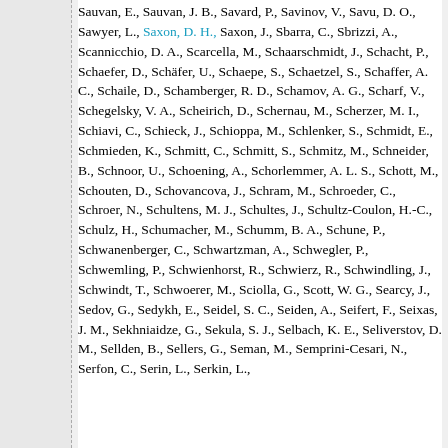Sauvan, E., Sauvan, J. B., Savard, P., Savinov, V., Savu, D. O., Sawyer, L., Saxon, D. H., Saxon, J., Sbarra, C., Sbrizzi, A., Scannicchio, D. A., Scarcella, M., Schaarschmidt, J., Schacht, P., Schaefer, D., Schäfer, U., Schaepe, S., Schaetzel, S., Schaffer, A. C., Schaile, D., Schamberger, R. D., Schamov, A. G., Scharf, V., Schegelsky, V. A., Scheirich, D., Schernau, M., Scherzer, M. I., Schiavi, C., Schieck, J., Schioppa, M., Schlenker, S., Schmidt, E., Schmieden, K., Schmitt, C., Schmitt, S., Schmitz, M., Schneider, B., Schnoor, U., Schoening, A., Schorlemmer, A. L. S., Schott, M., Schouten, D., Schovancova, J., Schram, M., Schroeder, C., Schroer, N., Schultens, M. J., Schultes, J., Schultz-Coulon, H.-C., Schulz, H., Schumacher, M., Schumm, B. A., Schune, P., Schwanenberger, C., Schwartzman, A., Schwegler, P., Schwemling, P., Schwienhorst, R., Schwierz, R., Schwindling, J., Schwindt, T., Schwoerer, M., Sciolla, G., Scott, W. G., Searcy, J., Sedov, G., Sedykh, E., Seidel, S. C., Seiden, A., Seifert, F., Seixas, J. M., Sekhniaidze, G., Sekula, S. J., Selbach, K. E., Seliverstov, D. M., Sellden, B., Sellers, G., Seman, M., Semprini-Cesari, N., Serfon, C., Serin, L., Serkin, L., ...